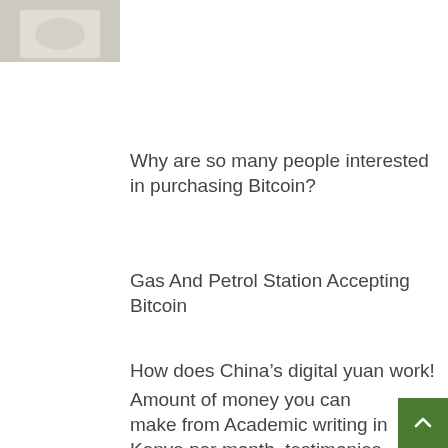[Figure (photo): Small thumbnail image, light gray/beige tones, partially visible at top left]
Why are so many people interested in purchasing Bitcoin?
Gas And Petrol Station Accepting Bitcoin
How does China’s digital yuan work!
Amount of money you can make from Academic writing in Kenya per month, testimonies